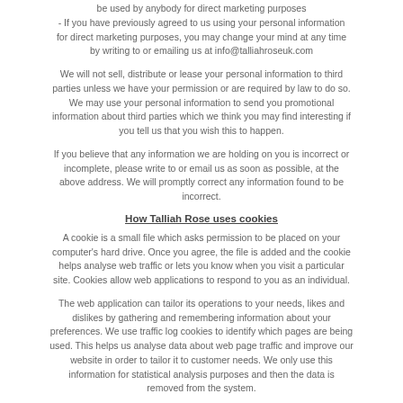be used by anybody for direct marketing purposes
- If you have previously agreed to us using your personal information for direct marketing purposes, you may change your mind at any time by writing to or emailing us at info@talliahroseuk.com
We will not sell, distribute or lease your personal information to third parties unless we have your permission or are required by law to do so. We may use your personal information to send you promotional information about third parties which we think you may find interesting if you tell us that you wish this to happen.
If you believe that any information we are holding on you is incorrect or incomplete, please write to or email us as soon as possible, at the above address. We will promptly correct any information found to be incorrect.
How Talliah Rose uses cookies
A cookie is a small file which asks permission to be placed on your computer's hard drive. Once you agree, the file is added and the cookie helps analyse web traffic or lets you know when you visit a particular site. Cookies allow web applications to respond to you as an individual.
The web application can tailor its operations to your needs, likes and dislikes by gathering and remembering information about your preferences. We use traffic log cookies to identify which pages are being used. This helps us analyse data about web page traffic and improve our website in order to tailor it to customer needs. We only use this information for statistical analysis purposes and then the data is removed from the system.
Overall, cookies help us provide you with a better website, by enabling us to monitor which pages you find useful and which you do not. A cookie in no way gives us access to your computer or any information about